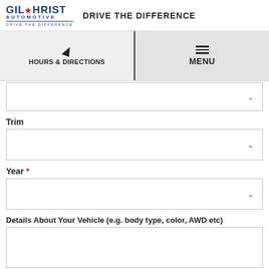GILCHRIST AUTOMOTIVE – DRIVE THE DIFFERENCE
[Figure (screenshot): Navigation bar with Hours & Directions (arrow icon) and MENU (hamburger icon) on gray background]
Trim
Year *
Details About Your Vehicle (e.g. body type, color, AWD etc)